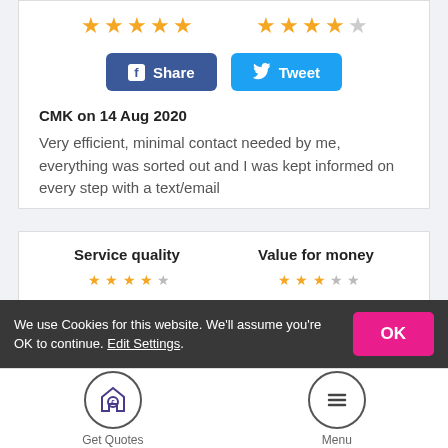[Figure (infographic): Two groups of star ratings: first group shows 5 gold stars, second group shows 4 gold stars and 1 gray star]
[Figure (infographic): Facebook Share button and Twitter Tweet button side by side]
CMK on 14 Aug 2020
Very efficient, minimal contact needed by me, everything was sorted out and I was kept informed on every step with a text/email
Service quality
Value for money
We use Cookies for this website. We'll assume you're OK to continue. Edit Settings.
[Figure (infographic): Bottom navigation bar with Get Quotes (house with pound sign icon) and Menu (hamburger icon) buttons]